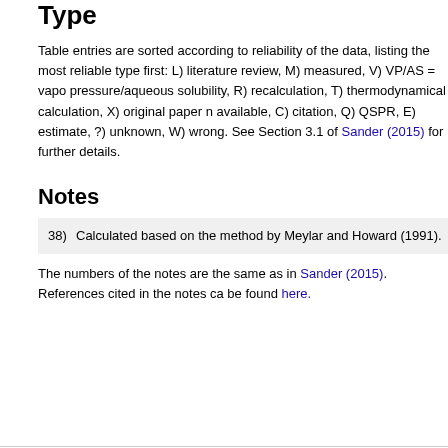Type
Table entries are sorted according to reliability of the data, listing the most reliable type first: L) literature review, M) measured, V) VP/AS = vapor pressure/aqueous solubility, R) recalculation, T) thermodynamical calculation, X) original paper not available, C) citation, Q) QSPR, E) estimate, ?) unknown, W) wrong. See Section 3.1 of Sander (2015) for further details.
Notes
38) Calculated based on the method by Meylan and Howard (1991).
The numbers of the notes are the same as in Sander (2015). References cited in the notes can be found here.